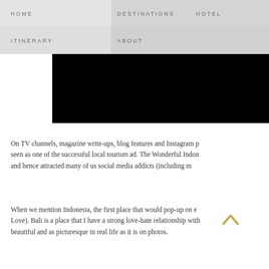HOME   DESTINATIONS   HOTEL   ITINERARY   ABOUT
[Figure (photo): Black image/video panel on the right side of the navigation area]
On TV channels, magazine write-ups, blog features and Instagram posts, it is seen as one of the successful local tourism ad. The Wonderful Indonesia and hence attracted many of us social media addicts (including m
When we mention Indonesia, the first place that would pop-up on everyone's mind is Bali (or Eat Pray Love). Bali is a place that I have a strong love-hate relationship with. It is as beautiful and as picturesque in real life as it is on photos.